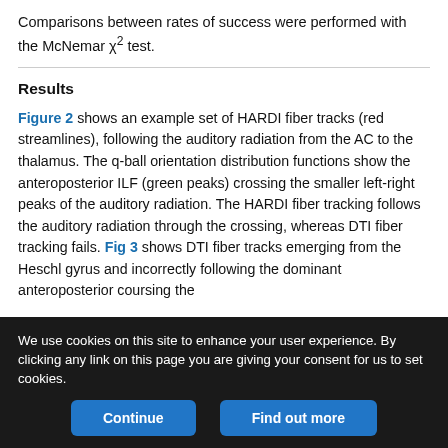Comparisons between rates of success were performed with the McNemar χ² test.
Results
Figure 2 shows an example set of HARDI fiber tracks (red streamlines), following the auditory radiation from the AC to the thalamus. The q-ball orientation distribution functions show the anteroposterior ILF (green peaks) crossing the smaller left-right peaks of the auditory radiation. The HARDI fiber tracking follows the auditory radiation through the crossing, whereas DTI fiber tracking fails. Fig 3 shows DTI fiber tracks emerging from the Heschl gyrus and incorrectly following the dominant anteroposterior coursing the
We use cookies on this site to enhance your user experience. By clicking any link on this page you are giving your consent for us to set cookies.